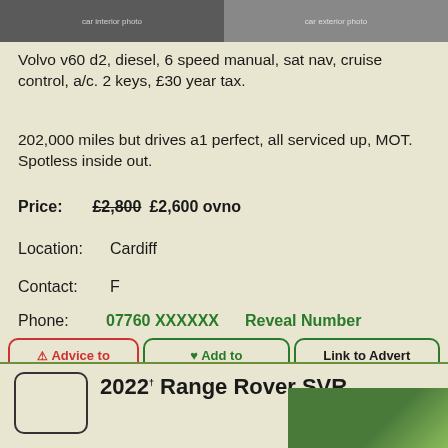[Figure (photo): Two partial car photos at top of listing]
Volvo v60 d2, diesel, 6 speed manual, sat nav, cruise control, a/c. 2 keys, £30 year tax.
202,000 miles but drives a1 perfect, all serviced up, MOT. Spotless inside out.
Price: £2,800 £2,600 ovno
Location: Cardiff
Contact: F
Phone: 07760 XXXXXX   Reveal Number
Advice to Buyers
Add to Favourites
Link to Advert
Share
2022 Range Rover SVR
[Figure (photo): Range Rover SVR listing photo thumbnail]